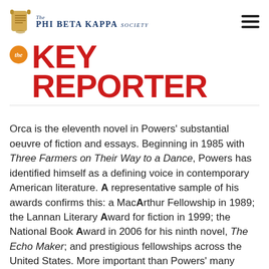The Phi Beta Kappa Society
The KEY REPORTER
Orca is the eleventh novel in Powers' substantial oeuvre of fiction and essays. Beginning in 1985 with Three Farmers on Their Way to a Dance, Powers has identified himself as a defining voice in contemporary American literature. A representative sample of his awards confirms this: a MacArthur Fellowship in 1989; the Lannan Literary Award for fiction in 1999; the National Book Award in 2006 for his ninth novel, The Echo Maker; and prestigious fellowships across the United States. More important than Powers' many recognitions, however, are the complex themes and issues of modern culture that he unravels and reweaves into narrative. His craftsmanship across multiple